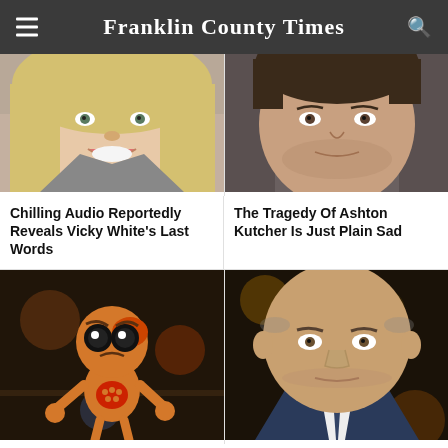Franklin County Times
[Figure (photo): Close-up photo of a smiling woman with long blonde hair]
Chilling Audio Reportedly Reveals Vicky White's Last Words
[Figure (photo): Close-up photo of a young man with stubble, smiling slightly]
The Tragedy Of Ashton Kutcher Is Just Plain Sad
[Figure (photo): Animated or puppet character - small yellow/orange humanoid figure with large round eyes]
[Figure (photo): Close-up photo of a middle-aged bald man with a neutral expression]